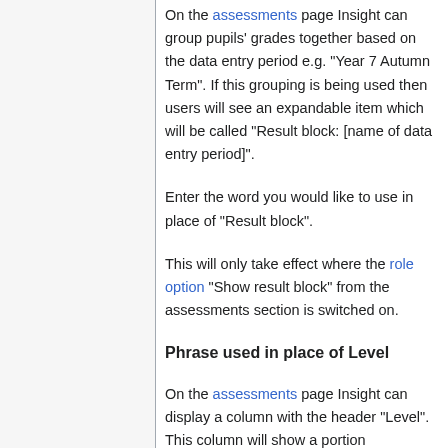On the assessments page Insight can group pupils' grades together based on the data entry period e.g. "Year 7 Autumn Term". If this grouping is being used then users will see an expandable item which will be called "Result block: [name of data entry period]".
Enter the word you would like to use in place of "Result block".
This will only take effect where the role option "Show result block" from the assessments section is switched on.
Phrase used in place of Level
On the assessments page Insight can display a column with the header "Level". This column will show a portion